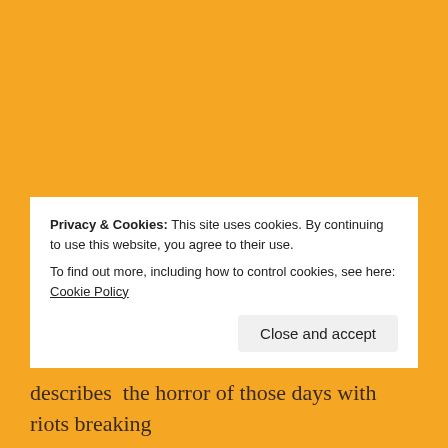The volume that I read contains the first fourteen stories
Privacy & Cookies: This site uses cookies. By continuing to use this website, you agree to their use.
To find out more, including how to control cookies, see here: Cookie Policy
Close and accept
describes  the horror of those days with riots breaking